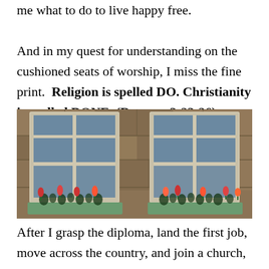me what to do to live happy free. And in my quest for understanding on the cushioned seats of worship, I miss the fine print.  Religion is spelled DO. Christianity is spelled DONE. (Romans 3:23-26)
[Figure (photo): Photograph of two windows on a stone building wall, each with a green window box containing red tulips or flowers.]
After I grasp the diploma, land the first job, move across the country, and join a church, all my good girl doing ends stretched out around a